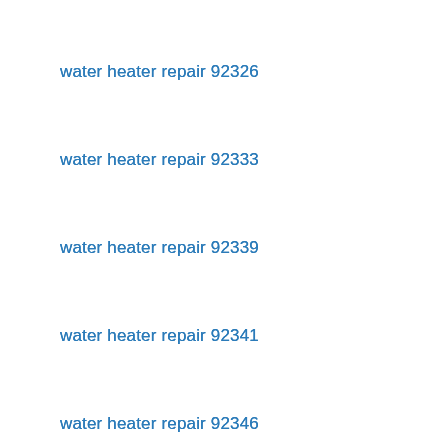water heater repair 92326
water heater repair 92333
water heater repair 92339
water heater repair 92341
water heater repair 92346
water heater repair 92350
water heater repair 92352
water heater repair 92354
water heater repair 92357
water heater repair 92359